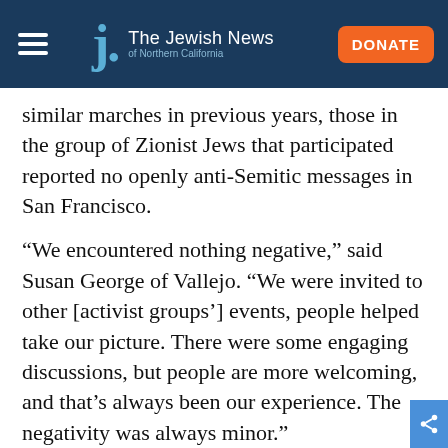The Jewish News of Northern California
similar marches in previous years, those in the group of Zionist Jews that participated reported no openly anti-Semitic messages in San Francisco.
“We encountered nothing negative,” said Susan George of Vallejo. “We were invited to other [activist groups’] events, people helped take our picture. There were some engaging discussions, but people are more welcoming, and that’s always been our experience. The negativity was always minor.”
Though tens of thousands reportedly walked this year in marches from Oakland to Washington,